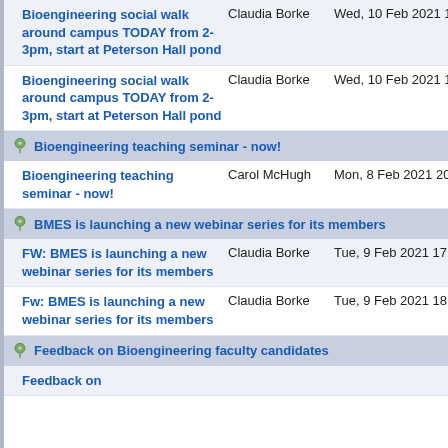Bioengineering social walk around campus TODAY from 2-3pm, start at Peterson Hall pond | Claudia Borke | Wed, 10 Feb 2021 18:01:11 +0000
Bioengineering social walk around campus TODAY from 2-3pm, start at Peterson Hall pond | Claudia Borke | Wed, 10 Feb 2021 18:04:36 +0000
Bioengineering teaching seminar - now!
Bioengineering teaching seminar - now! | Carol McHugh | Mon, 8 Feb 2021 20:04:33 +0000
BMES is launching a new webinar series for its members
FW: BMES is launching a new webinar series for its members | Claudia Borke | Tue, 9 Feb 2021 17:33:06 +0000
Fw: BMES is launching a new webinar series for its members | Claudia Borke | Tue, 9 Feb 2021 18:30:56 +0000
Feedback on Bioengineering faculty candidates
Feedback on...